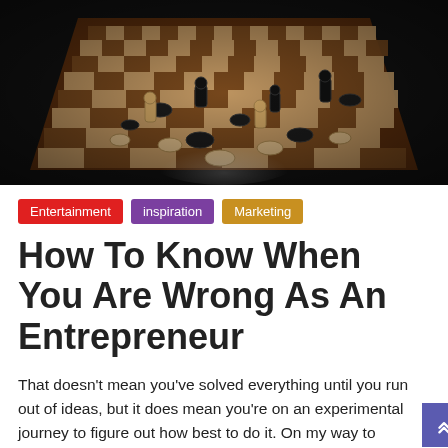[Figure (photo): Chess board with scattered chess pieces, viewed from above at an angle, dark moody lighting]
Entertainment  inspiration  Marketing
How To Know When You Are Wrong As An Entrepreneur
That doesn't mean you've solved everything until you run out of ideas, but it does mean you're on an experimental journey to figure out how best to do it. On my way to